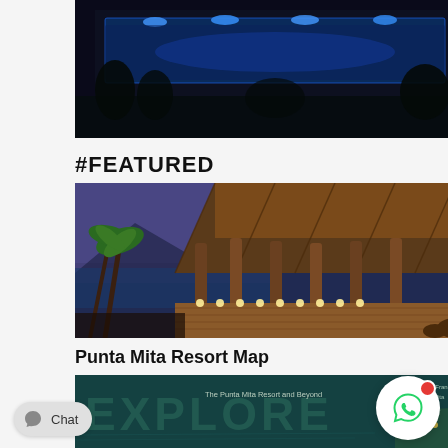[Figure (photo): Aerial or elevated night-time view of an illuminated swimming pool with blue LED lights]
#FEATURED
[Figure (photo): Tropical resort at dusk with thatched-roof palapa, palm trees, wooden deck, and string lights near an infinity pool]
Punta Mita Resort Map
[Figure (map): Dark teal map titled EXPLORE showing The Punta Mita Resort and Beyond with resort locations and labels]
[Figure (other): WhatsApp chat widget with green phone icon and red notification badge]
[Figure (other): Chat button with speech bubble icon and 'Chat' text label]